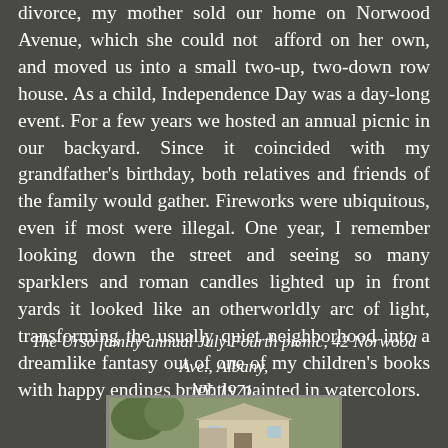divorce, my mother sold our home on Norwood Avenue, which she could not afford on her own, and moved us into a small two-up, two-down row house. As a child, Independence Day was a day-long event. For a few years we hosted an annual picnic in our backyard. Since it coincided with my grandfather's birthday, both relatives and friends of the family would gather. Fireworks were ubiquitous, even if most were illegal. One year, I remember looking down the street and seeing so many sparklers and roman candles lighted up in front yards it looked like an otherworldly arc of light, transforming the usually quiet neighborhood into a dreamlike fantasy out of one of my children's books with happy endings brightly painted in watercolors.
The Urso family annual July Fourth picnic, 42 Norwood Ave., Albany, NY, 1971.
[Figure (photo): A photograph of a house at 42 Norwood Ave., Albany, NY, taken in 1971, partially visible at the bottom of the page.]